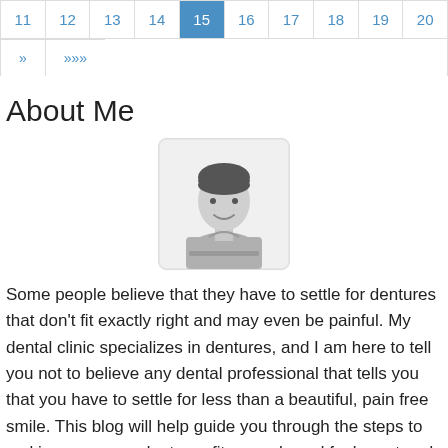| 11 | 12 | 13 | 14 | 15 | 16 | 17 | 18 | 19 | 20 |
| --- | --- | --- | --- | --- | --- | --- | --- | --- | --- |
| » | »»» |  |  |  |  |  |  |  |  |
About Me
[Figure (illustration): Generic male avatar/profile placeholder image, grayscale, showing upper body of a person with dark hair, light gray background rounded rectangle]
Some people believe that they have to settle for dentures that don't fit exactly right and may even be painful. My dental clinic specializes in dentures, and I am here to tell you not to believe any dental professional that tells you that you have to settle for less than a beautiful, pain free smile. This blog will help guide you through the steps to making sure your dentures fit properly and feel great and will give you information for talking to your dentist about problems with your dentures. I hope that this blog will inspire people to advocate for themselves when it comes